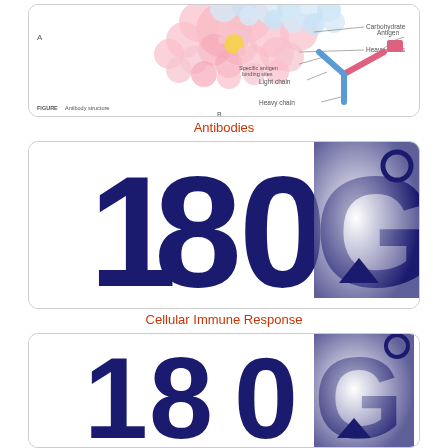[Figure (illustration): Antibody structure diagram showing molecular structure with carbohydrate, heavy chains, light chains, and antigen binding sites labeled. Pink globular proteins on top and a Y-shaped antibody schematic on the right.]
Antibodies
[Figure (logo): 180G logo in dark navy blue with large bold numerals '180' and stylized letter 'G' with an upward arrow incorporated, with a white/light gradient effect on the G.]
Cellular Immune Response
[Figure (logo): 180G logo in dark navy blue with large bold numerals '180' and stylized letter 'G' with an upward arrow incorporated, with a white/light gradient effect on the G. Slightly smaller version.]